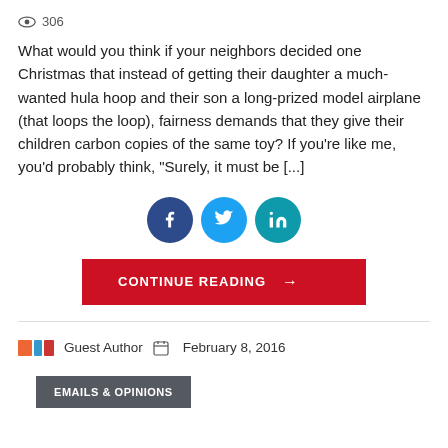306
What would you think if your neighbors decided one Christmas that instead of getting their daughter a much-wanted hula hoop and their son a long-prized model airplane (that loops the loop), fairness demands that they give their children carbon copies of the same toy? If you're like me, you'd probably think, "Surely, it must be [...]
[Figure (other): Social sharing buttons: Facebook (dark blue circle), Twitter (light blue circle), LinkedIn (teal circle)]
[Figure (other): Red CONTINUE READING button with right arrow]
Guest Author   February 8, 2016
EMAILS & OPINIONS